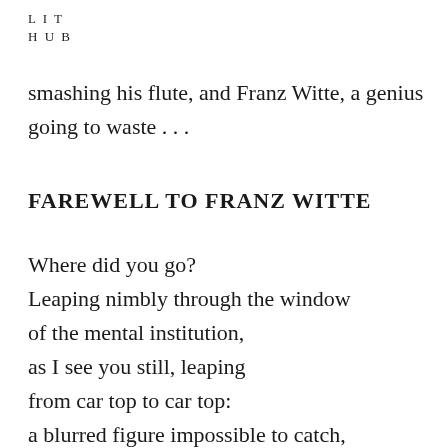L I T
H U B
smashing his flute, and Franz Witte, a genius going to waste . . .
FAREWELL TO FRANZ WITTE
Where did you go?
Leaping nimbly through the window
of the mental institution,
as I see you still, leaping
from car top to car top:
a blurred figure impossible to catch,
always off to somewhere else.